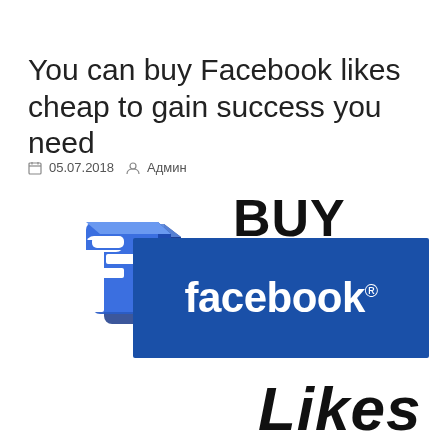You can buy Facebook likes cheap to gain success you need
05.07.2018  Админ
[Figure (illustration): Promotional graphic with 'BUY facebook. Likes' text overlay on a blue Facebook banner, with a 3D stacked Facebook logo icon on the left]